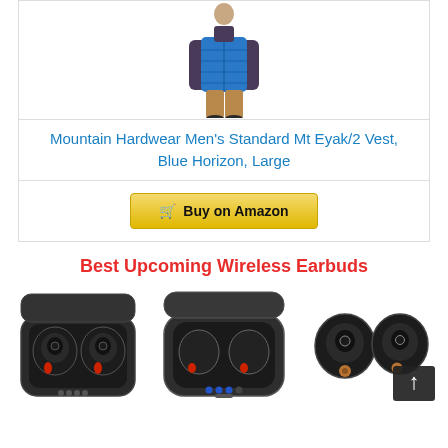[Figure (photo): Man wearing a blue puffer vest over a dark long-sleeve shirt with tan/brown pants]
Mountain Hardwear Men's Standard Mt Eyak/2 Vest, Blue Horizon, Large
Buy on Amazon
Best Upcoming Wireless Earbuds
[Figure (photo): Black wireless earbuds in an open charging case, left product]
[Figure (photo): Black wireless earbuds in an open charging case with LED indicators, center product]
[Figure (photo): Black wireless earbuds outside of case, right product with scroll-up arrow overlay]